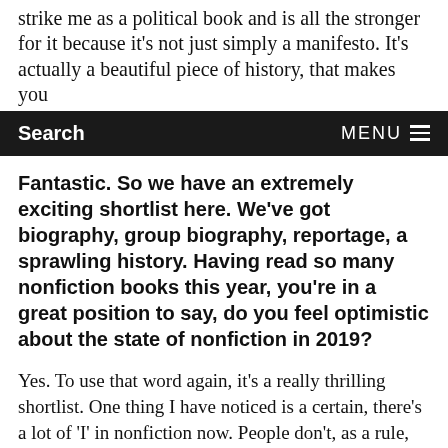strike me as a political book and is all the stronger for it because it's not just simply a manifesto. It's actually a beautiful piece of history, that makes you
Search    MENU
Fantastic. So we have an extremely exciting shortlist here. We've got biography, group biography, reportage, a sprawling history. Having read so many nonfiction books this year, you're in a great position to say, do you feel optimistic about the state of nonfiction in 2019?
Yes. To use that word again, it's a really thrilling shortlist. One thing I have noticed is a certain, there's a lot of 'I' in nonfiction now. People don't, as a rule, write straight histories—they are encouraged to write their place into history, or into the context of the subject that they're describing. There's lots of, 'here's how I felt when I discovered X,'